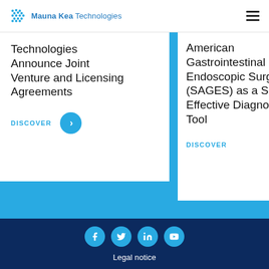Mauna Kea Technologies
Technologies Announce Joint Venture and Licensing Agreements
DISCOVER
American Gastrointestinal and Endoscopic Surg (SAGES) as a Safe Effective Diagno Tool
DISCOVER
Legal notice